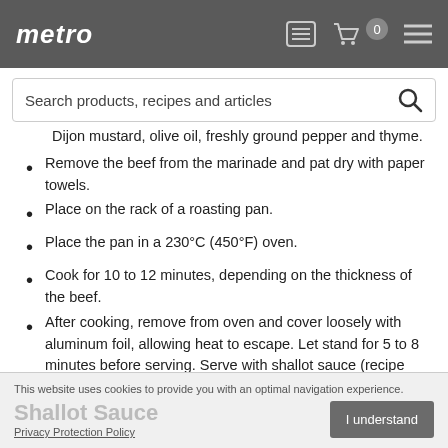metro | Search products, recipes and articles
Dijon mustard, olive oil, freshly ground pepper and thyme.
Remove the beef from the marinade and pat dry with paper towels.
Place on the rack of a roasting pan.
Place the pan in a 230°C (450°F) oven.
Cook for 10 to 12 minutes, depending on the thickness of the beef.
After cooking, remove from oven and cover loosely with aluminum foil, allowing heat to escape. Let stand for 5 to 8 minutes before serving. Serve with shallot sauce (recipe below).
This website uses cookies to provide you with an optimal navigation experience. Privacy Protection Policy | I understand | Shallot Sauce